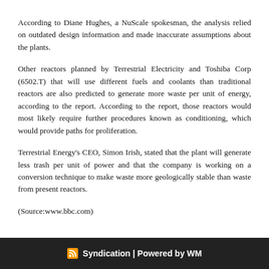According to Diane Hughes, a NuScale spokesman, the analysis relied on outdated design information and made inaccurate assumptions about the plants.
Other reactors planned by Terrestrial Electricity and Toshiba Corp (6502.T) that will use different fuels and coolants than traditional reactors are also predicted to generate more waste per unit of energy, according to the report. According to the report, those reactors would most likely require further procedures known as conditioning, which would provide paths for proliferation.
Terrestrial Energy's CEO, Simon Irish, stated that the plant will generate less trash per unit of power and that the company is working on a conversion technique to make waste more geologically stable than waste from present reactors.
(Source:www.bbc.com)
Syndication | Powered by WM